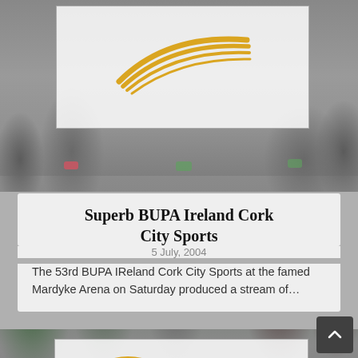[Figure (photo): Background photo of runners/athletes legs at a track event, with a white box overlaid containing a gold swoosh/athletics logo]
Superb BUPA Ireland Cork City Sports
5 July, 2004
The 53rd BUPA IReland Cork City Sports at the famed Mardyke Arena on Saturday produced a stream of...
[Figure (logo): Background photo of crowd at a running event, with a white box overlaid containing the Leevale athletics club logo — gold C-shaped swoosh with black bold LEEVALE text]